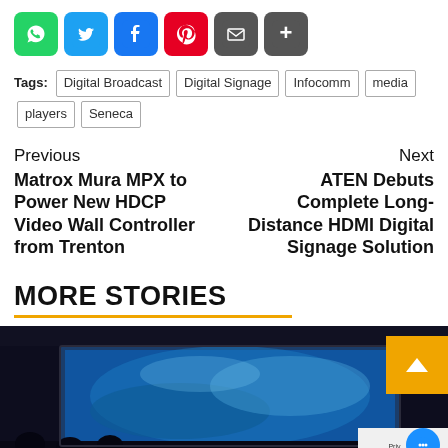[Figure (infographic): Row of social sharing icon buttons: WhatsApp (green), Twitter (blue), Facebook (blue), Pinterest (red), Email (grey), More (grey)]
Tags: Digital Broadcast | Digital Signage | Infocomm | media players | Seneca
Previous
Matrox Mura MPX to Power New HDCP Video Wall Controller from Trenton
Next
ATEN Debuts Complete Long-Distance HDMI Digital Signage Solution
MORE STORIES
[Figure (photo): Dark room with a large illuminated screen showing a blue ocean/water scene, a cinema or digital signage display context]